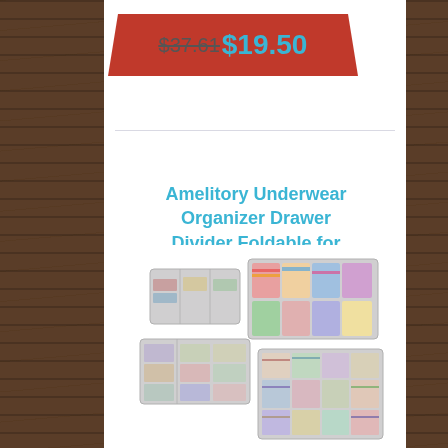[Figure (photo): Dark wood grain background texture]
$37.61$19.50
Amelitory Underwear Organizer Drawer Divider Foldable for
[Figure (photo): Product image of Amelitory underwear organizer drawer dividers, showing grey foldable fabric boxes filled with folded clothes and accessories]